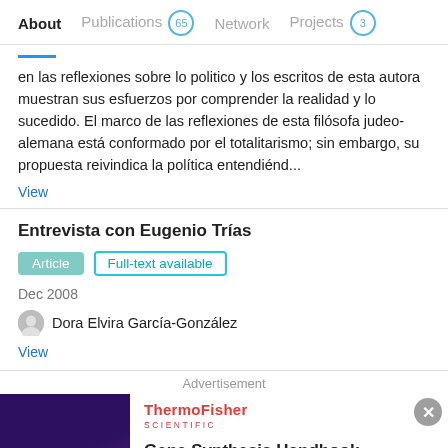About | Publications 65 | Network | Projects 3
en las reflexiones sobre lo politico y los escritos de esta autora muestran sus esfuerzos por comprender la realidad y lo sucedido. El marco de las reflexiones de esta filósofa judeo-alemana está conformado por el totalitarismo; sin embargo, su propuesta reivindica la política entendiénd...
View
Entrevista con Eugenio Trías
Article | Full-text available
Dec 2008
Dora Elvira García-González
View
Advertisement
[Figure (photo): ThermoFisher Scientific advertisement showing Gene Synthesis Handbook with a lab image on the left side.]
Gene Synthesis Handbook